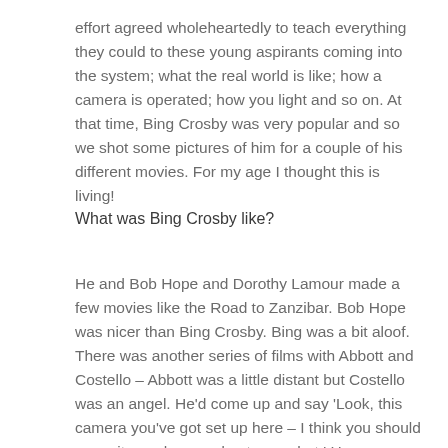effort agreed wholeheartedly to teach everything they could to these young aspirants coming into the system; what the real world is like; how a camera is operated; how you light and so on. At that time, Bing Crosby was very popular and so we shot some pictures of him for a couple of his different movies. For my age I thought this is living!
What was Bing Crosby like?
He and Bob Hope and Dorothy Lamour made a few movies like the Road to Zanzibar. Bob Hope was nicer than Bing Crosby. Bing was a bit aloof. There was another series of films with Abbott and Costello – Abbott was a little distant but Costello was an angel. He'd come up and say 'Look, this camera you've got set up here – I think you should move it over here and get your shot.' He was always right! Then the next step was when we were sent